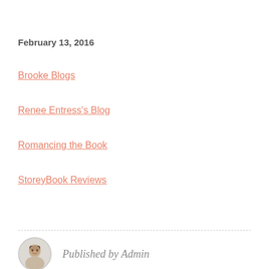February 13, 2016
Brooke Blogs
Renee Entress’s Blog
Romancing the Book
StoreyBook Reviews
Published by Admin